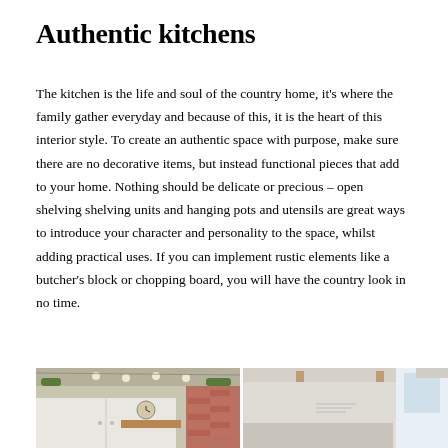Authentic kitchens
The kitchen is the life and soul of the country home, it's where the family gather everyday and because of this, it is the heart of this interior style. To create an authentic space with purpose, make sure there are no decorative items, but instead functional pieces that add to your home. Nothing should be delicate or precious – open shelving shelving units and hanging pots and utensils are great ways to introduce your character and personality to the space, whilst adding practical uses. If you can implement rustic elements like a butcher's block or chopping board, you will have the country look in no time.
[Figure (photo): Two side-by-side photos of country-style kitchens: left shows white cabinets with decorative clock, pendant lights, plants and brick accents; right shows a bright kitchen with wooden beam ceiling and large windows.]